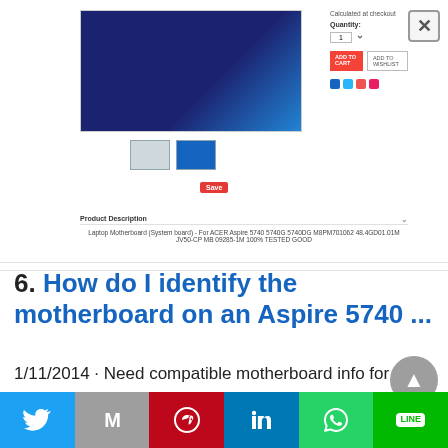[Figure (screenshot): Screenshot of an e-commerce product page for a laptop motherboard for ACER Aspire 5740. Shows product image, thumbnails, Save button, Quantity selector, ADD TO CART and ADD TO WISHLIST buttons, and social share icons.]
Calculated at checkout
Quantity:
1
ADD TO CART
ADD TO WISHLIST
Product Description
Laptop Motherboard (System board) - For ACER Aspire 5740 5740G 5740DG M8PM701062 48.4GD01.01M JV50-CP MB 09285-1M 100% TESTED GOOD
6. How do I identify the motherboard on an Aspire 5740 ...
1/11/2014 · Need compatible motherboard info for Aspire 5740. Thanks. There is really not a form factor for laptop motherboards as each one is